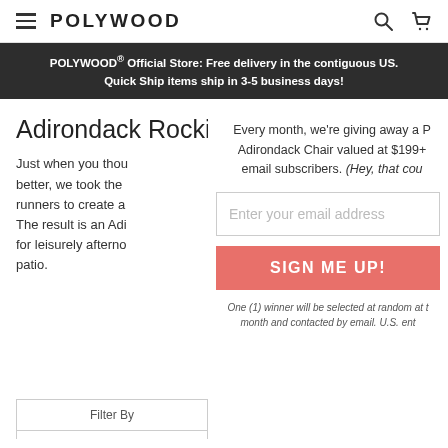POLYWOOD
POLYWOOD® Official Store: Free delivery in the contiguous US. Quick Ship items ship in 3-5 business days!
Adirondack Rocking Chairs
Just when you thought the Adirondack couldn't get better, we took the classic and added contoured back runners to create a rocking chair with modern style. The result is an Adirondack Rocking Chair that's perfect for leisurely afternoons on your porch, deck, or patio.
Every month, we're giving away a POLYWOOD Adirondack Chair valued at $199+ to one of our email subscribers. (Hey, that could be you!)
Enter your email address
SIGN ME UP!
One (1) winner will be selected at random at the end of the month and contacted by email. U.S. entries only.
Filter By
We can't find products matching the selection. Filters